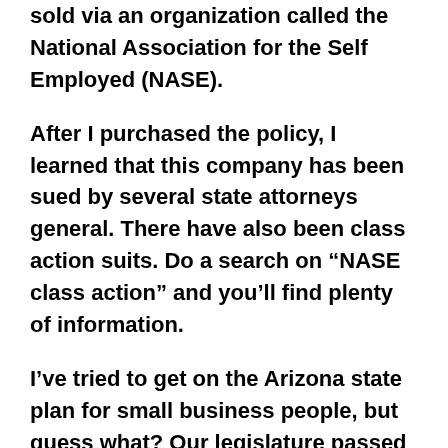sold via an organization called the National Association for the Self Employed (NASE).
After I purchased the policy, I learned that this company has been sued by several state attorneys general. There have also been class action suits. Do a search on “NASE class action” and you’ll find plenty of information.
I’ve tried to get on the Arizona state plan for small business people, but guess what? Our legislature passed a law that excludes sole proprietors from this plan. Thanks a lot, legislature.
So, I continue with HealthMarkets. Let me tell you, if and when the public option goes into effect, I will cheerfully cancel that